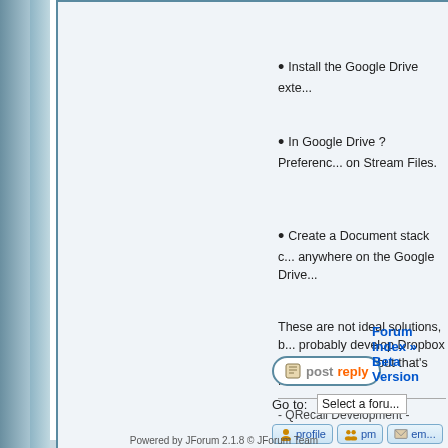Install the Google Drive exte...
In Google Drive ? Preferences... on Stream Files.
Create a Document stack c... anywhere on the Google Drive...
These are not ideal solutions, b... probably develop Dropbox and... containers, but that's further do...
- QRecall Development -
[Figure (screenshot): Profile, PM, and email buttons for forum user]
Forum Index » Beta Version
Go to:  Select a foru...
Powered by JForum 2.1.8 © JForum Team